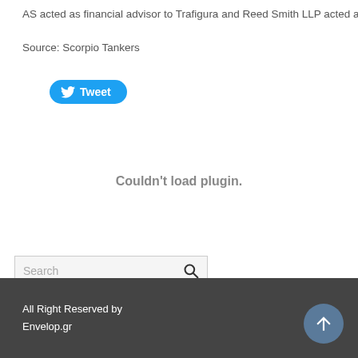AS acted as financial advisor to Trafigura and Reed Smith LLP acted as l
Source: Scorpio Tankers
[Figure (other): Tweet button with Twitter bird logo]
Couldn't load plugin.
Search
⇒ Navigate
All Right Reserved by
Envelop.gr